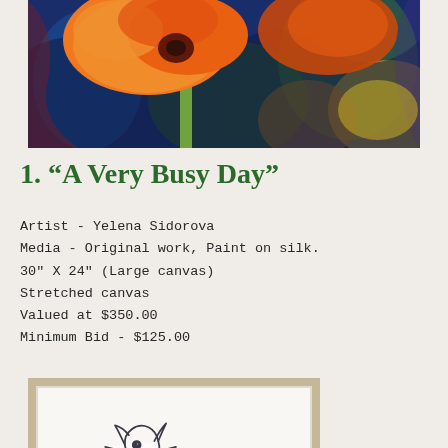[Figure (photo): Colorful painting on silk showing orange poppy flowers against a vibrant blue and multicolored background, partially cropped at the top of the page.]
1. “A Very Busy Day”
Artist - Yelena Sidorova
Media - Original work, Paint on silk.
30" X 24" (Large canvas)
Stretched canvas
Valued at $350.00
Minimum Bid - $125.00
[Figure (photo): A framed artwork showing a minimalist line drawing of a cat in a wooden/grey frame, with pink watercolor splatter dots, on a white background. The image is partially cropped at the bottom.]